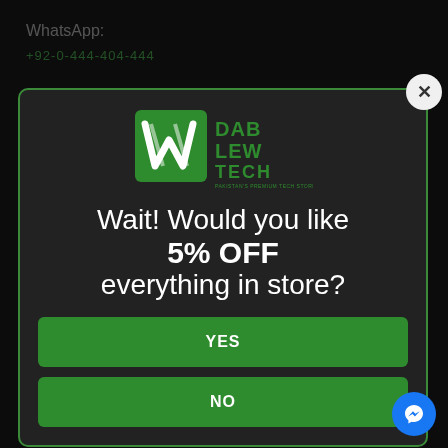WhatsApp:
+92-0-444-404-444
[Figure (logo): DAB LEW TECH logo in green with stylized W letterform]
Wait! Would you like 5% OFF everything in store?
YES
NO
Buy S21/ S21 Plus/ S21 Ultra Cases & Protectors in Pakistan
Buy Best USB Type C Hubs in Pakistan
iPhone 12 Screen Protectors in Pakistan